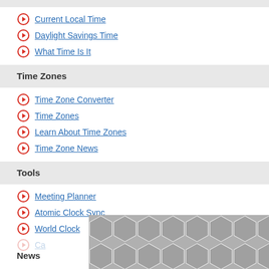Current Local Time
Daylight Savings Time
What Time Is It
Time Zones
Time Zone Converter
Time Zones
Learn About Time Zones
Time Zone News
Tools
Meeting Planner
Atomic Clock Sync
World Clock
Ca…
News
[Figure (illustration): Geometric hexagon pattern in gray tones at the bottom right of the page]